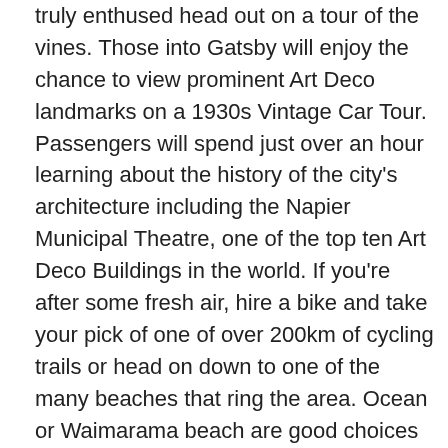truly enthused head out on a tour of the vines. Those into Gatsby will enjoy the chance to view prominent Art Deco landmarks on a 1930s Vintage Car Tour. Passengers will spend just over an hour learning about the history of the city's architecture including the Napier Municipal Theatre, one of the top ten Art Deco Buildings in the world. If you're after some fresh air, hire a bike and take your pick of one of over 200km of cycling trails or head on down to one of the many beaches that ring the area. Ocean or Waimarama beach are good choices and both are patrolled by surf lifeguards during the summer. Indulge in some local produce and head out on a cheese, chocolate, honey or orchard tour. End on a high with another ride, this time in a comfortable trailer pulled by a tractor en-route to Cape Kidnappers Gannet Colony - the largest of its kind in the world.
SUGGESTED ACTIVITY - Grape Escape half day Hawke's Bay Wine tour
This wine tasting tour is designed for casual imbibers and wine aficionados. Meet like-minded people and share an appreciation of